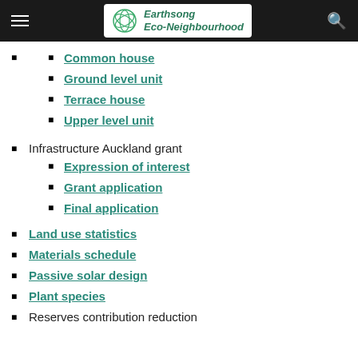Earthsong Eco-Neighbourhood
Common house
Ground level unit
Terrace house
Upper level unit
Infrastructure Auckland grant
Expression of interest
Grant application
Final application
Land use statistics
Materials schedule
Passive solar design
Plant species
Reserves contribution reduction